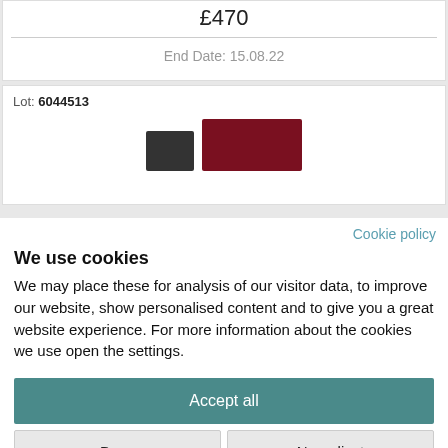£470
End Date: 15.08.22
Lot: 6044513
[Figure (photo): Partial view of two items — a small black object and a larger dark red/maroon rectangular object]
Cookie policy
We use cookies
We may place these for analysis of our visitor data, to improve our website, show personalised content and to give you a great website experience. For more information about the cookies we use open the settings.
Accept all
Deny
No, adjust